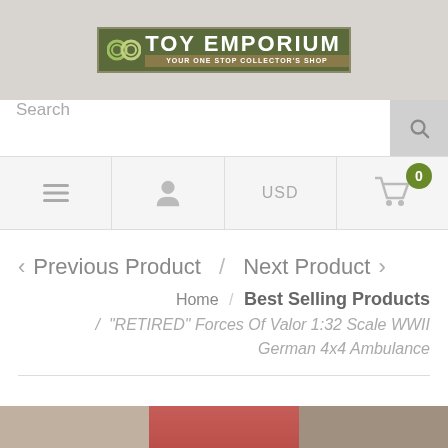[Figure (logo): CC Toy Emporium logo — Your One Stop Collector's Shop]
Search
USD
0
< Previous Product  /  Next Product >
Home / Best Selling Products / "RETIRED" Forces Of Valor 1:32 Scale WWII German 4x4 Ambulance